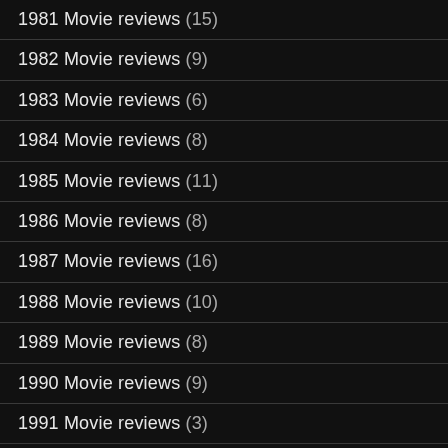1981 Movie reviews (15)
1982 Movie reviews (9)
1983 Movie reviews (6)
1984 Movie reviews (8)
1985 Movie reviews (11)
1986 Movie reviews (8)
1987 Movie reviews (16)
1988 Movie reviews (10)
1989 Movie reviews (8)
1990 Movie reviews (9)
1991 Movie reviews (3)
1992 Movie reviews (6)
1993 Movie reviews (5)